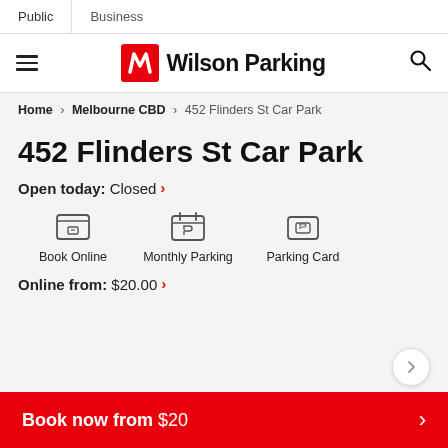Public | Business
[Figure (logo): Wilson Parking logo with red W icon and black text 'Wilson Parking']
Home > Melbourne CBD > 452 Flinders St Car Park
452 Flinders St Car Park
Open today: Closed >
[Figure (infographic): Three feature icons: Book Online, Monthly Parking, Parking Card]
Online from: $20.00 >
Book now from $20 >